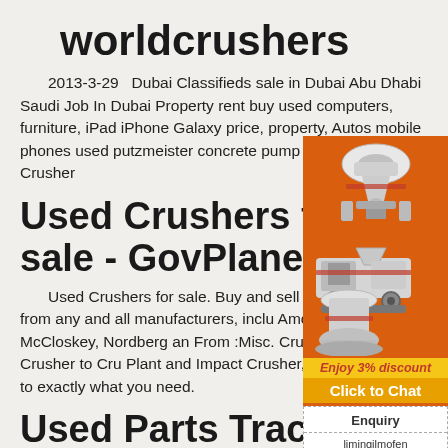worldcrushers
2013-3-29   Dubai Classifieds sale in Dubai Abu Dhabi Saudi Job In Dubai Property rent buy used computers, furniture, iPad iPhone Galaxy price, property, Autos mobile phones used putzmeister concrete pump for sale in dubai – Crusher
Used Crushers for sale - GovPlanet
[Figure (illustration): Orange advertisement banner showing multiple mining/crushing machines (cone crusher, jaw crusher, mobile crusher) on orange background with 'Enjoy 3% discount' in yellow and 'Click to Chat' button, followed by Enquiry section and email limingjlmofen@sina.com]
Used Crushers for sale. Buy and sell used Crushers from any and all manufacturers, including Amcast, Cedarapids, McCloskey, Nordberg and more. From :Misc. Crusher and Cone Crusher to Crushing Plant and Impact Crusher, you can be sure to find exactly what you need.
Used Parts Track...